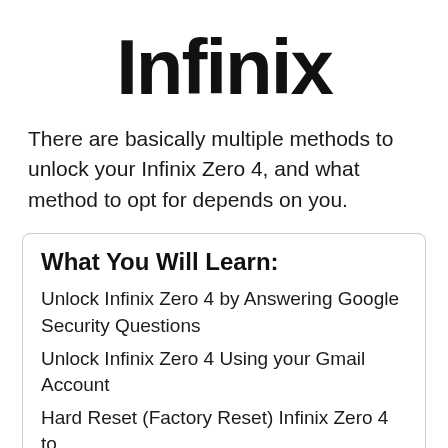[Figure (logo): Infinix brand logo in large bold black text]
There are basically multiple methods to unlock your Infinix Zero 4, and what method to opt for depends on you.
What You Will Learn:
Unlock Infinix Zero 4 by Answering Google Security Questions
Unlock Infinix Zero 4 Using your Gmail Account
Hard Reset (Factory Reset) Infinix Zero 4 to